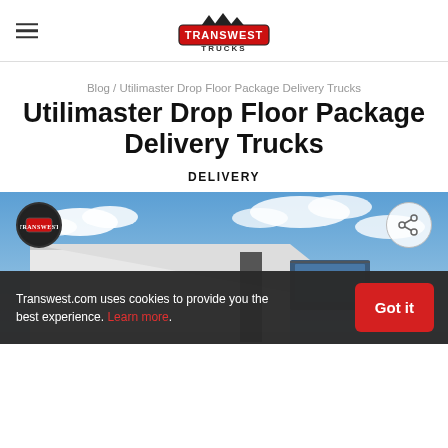Transwest Trucks logo and navigation
Blog / Utilimaster Drop Floor Package Delivery Trucks
Utilimaster Drop Floor Package Delivery Trucks
DELIVERY
[Figure (photo): Exterior photo of a white Utilimaster drop floor package delivery truck against a partly cloudy blue sky]
Transwest.com uses cookies to provide you the best experience. Learn more.